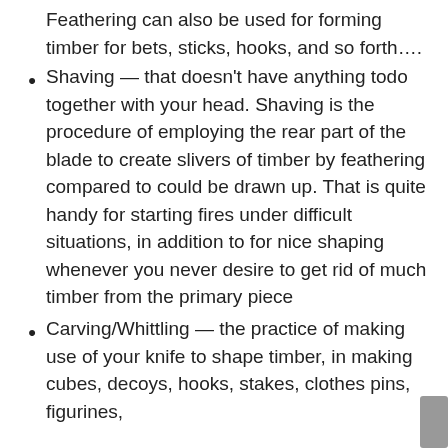Feathering can also be used for forming timber for bets, sticks, hooks, and so forth….
Shaving — that doesn't have anything todo together with your head. Shaving is the procedure of employing the rear part of the blade to create slivers of timber by feathering compared to could be drawn up. That is quite handy for starting fires under difficult situations, in addition to for nice shaping whenever you never desire to get rid of much timber from the primary piece
Carving/Whittling — the practice of making use of your knife to shape timber, in making cubes, decoys, hooks, stakes, clothes pins, figurines,